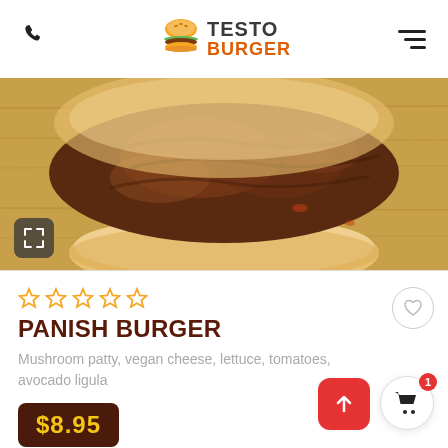TESTO BURGER
[Figure (photo): Close-up photo of a burger patty on a bun, on a wooden cutting board background]
☆☆☆☆☆
PANISH BURGER
Mushroom patty, vegan cheese, lettuce, tomatoes, avocado ligula
$8.95